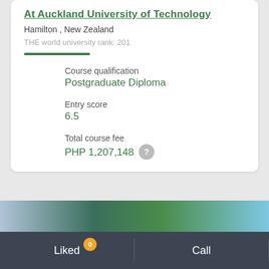At Auckland University of Technology
Hamilton , New Zealand
THE world university rank:  201
Course qualification
Postgraduate Diploma
Entry score
6.5
Total course fee
PHP 1,207,148
[Figure (photo): Partial photo strip of a university campus with green trees and blue sky]
Liked
Call